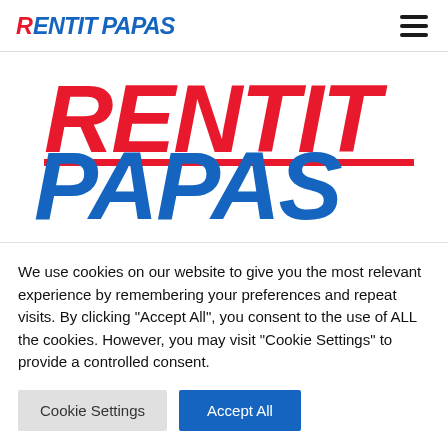[Figure (logo): RentItPapas logo in header - red and blue italic bold text]
[Figure (logo): Large RentItPapas logo centered - RENTIT in red italic, PAPAS in blue italic bold]
We use cookies on our website to give you the most relevant experience by remembering your preferences and repeat visits. By clicking "Accept All", you consent to the use of ALL the cookies. However, you may visit "Cookie Settings" to provide a controlled consent.
Cookie Settings
Accept All